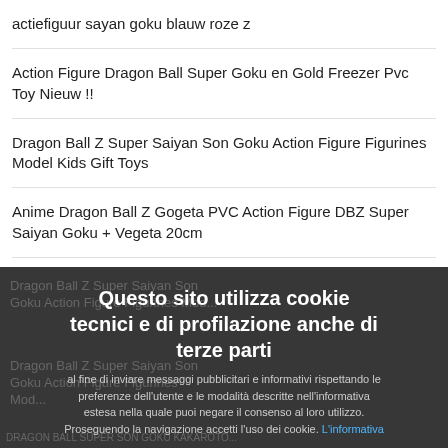actiefiguur sayan goku blauw roze z
Action Figure Dragon Ball Super Goku en Gold Freezer Pvc Toy Nieuw !!
Dragon Ball Z Super Saiyan Son Goku Action Figure Figurines Model Kids Gift Toys
Anime Dragon Ball Z Gogeta PVC Action Figure DBZ Super Saiyan Goku + Vegeta 20cm
Dragon Ball Z Super Saiyan Son Goku Action Figure Figurines Model...
Dragon Ball Z Super Saiyan Son Goku Action Figure Figurines Model...
Questo sito utilizza cookie tecnici e di profilazione anche di terze parti al fine di inviare messaggi pubblicitari e informativi rispettando le preferenze dell'utente e le modalità descritte nell'informativa estesa nella quale puoi negare il consenso al loro utilizzo. Proseguendo la navigazione accetti l'uso dei cookie. L'informativa
Accetto
DRAGON BALL SUPER SON GOKU KAKAROTO...